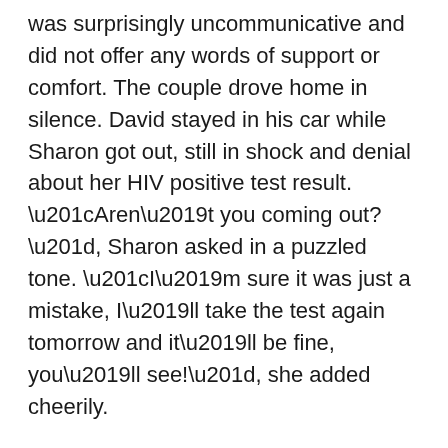was surprisingly uncommunicative and did not offer any words of support or comfort. The couple drove home in silence. David stayed in his car while Sharon got out, still in shock and denial about her HIV positive test result. “Aren’t you coming out?”, Sharon asked in a puzzled tone. “I’m sure it was just a mistake, I’ll take the test again tomorrow and it’ll be fine, you’ll see!”, she added cheerily.
David was avoiding eye contact with her. When he finally spoke, it was in a hushed, flat tone. “I think we should stop seeing each other”, David said, all the while sordidly looking straight